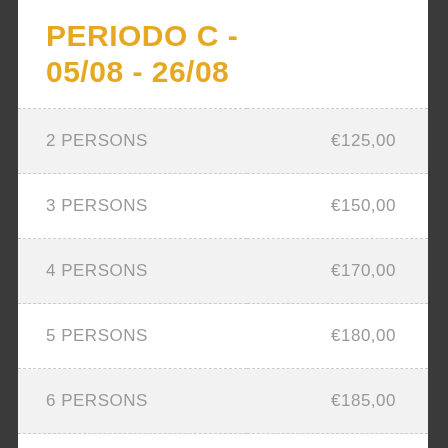PERIODO C - 05/08 - 26/08
|  |  |
| --- | --- |
| 2 PERSONS | €125,00 |
| 3 PERSONS | €150,00 |
| 4 PERSONS | €170,00 |
| 5 PERSONS | €180,00 |
| 6 PERSONS | €185,00 |